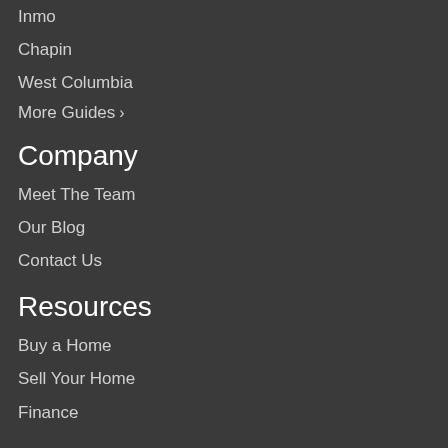Inmo
Chapin
West Columbia
More Guides >
Company
Meet The Team
Our Blog
Contact Us
Resources
Buy a Home
Sell Your Home
Finance
Get Social
[Figure (infographic): Social media icons row: Twitter (blue bird), Facebook (dark blue f), Cloud (light blue cloud), RSS (orange signal)]
About Us